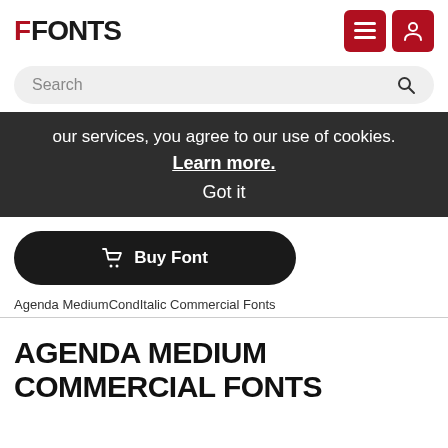FFONTS
Search
our services, you agree to our use of cookies. Learn more. Got it
Buy Font
Agenda MediumCondItalic Commercial Fonts
AGENDA MEDIUM COMMERCIAL FONTS